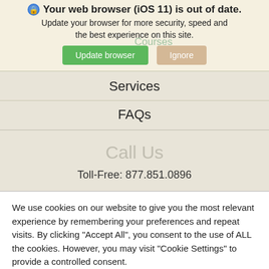Your web browser (iOS 11) is out of date. Update your browser for more security, speed and the best experience on this site.
Courses
Update browser | Ignore
Services
FAQs
Call Us
Toll-Free: 877.851.0896
We use cookies on our website to give you the most relevant experience by remembering your preferences and repeat visits. By clicking "Accept All", you consent to the use of ALL the cookies. However, you may visit "Cookie Settings" to provide a controlled consent.
Cookie Settings | Accept All